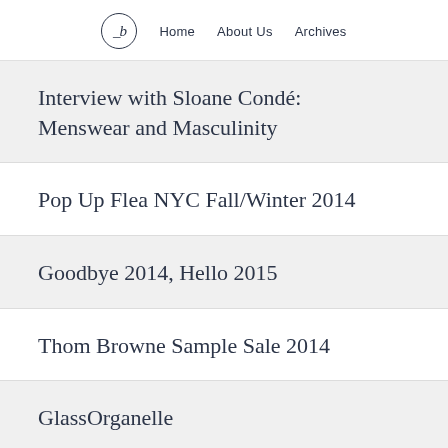_b  Home  About Us  Archives
Interview with Sloane Condé: Menswear and Masculinity
Pop Up Flea NYC Fall/Winter 2014
Goodbye 2014, Hello 2015
Thom Browne Sample Sale 2014
GlassOrganelle